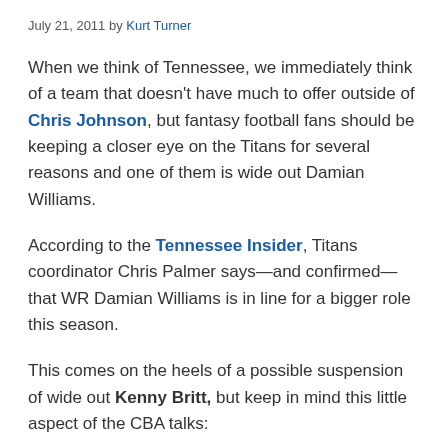July 21, 2011 by Kurt Turner
When we think of Tennessee, we immediately think of a team that doesn't have much to offer outside of Chris Johnson, but fantasy football fans should be keeping a closer eye on the Titans for several reasons and one of them is wide out Damian Williams.
According to the Tennessee Insider, Titans coordinator Chris Palmer says—and confirmed— that WR Damian Williams is in line for a bigger role this season.
This comes on the heels of a possible suspension of wide out Kenny Britt, but keep in mind this little aspect of the CBA talks:
“Intriguing twist just reported: Overhaul of arbitration